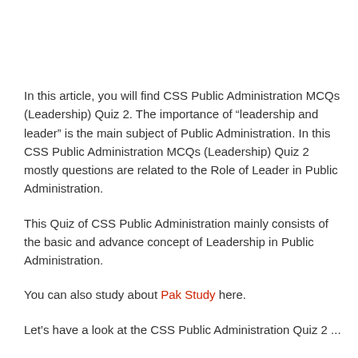In this article, you will find CSS Public Administration MCQs (Leadership) Quiz 2. The importance of “leadership and leader” is the main subject of Public Administration. In this CSS Public Administration MCQs (Leadership) Quiz 2 mostly questions are related to the Role of Leader in Public Administration.
This Quiz of CSS Public Administration mainly consists of the basic and advance concept of Leadership in Public Administration.
You can also study about Pak Study here.
Let’s have a look at the CSS Public Administration Quiz 2 ...